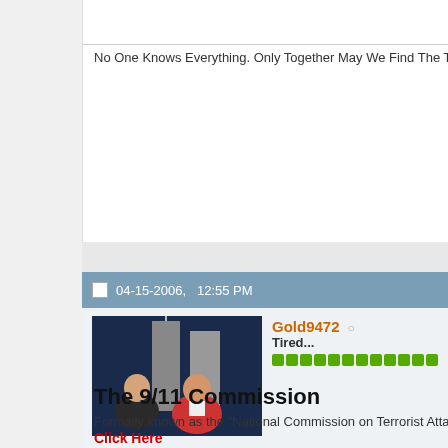No One Knows Everything. Only Together May We Find The Truth
04-15-2006,   12:55 PM
[Figure (photo): Avatar image showing two men in suits with Twin Towers in background]
Gold9472  Tired...
The 9/11 Commission
Formally known as the "National Commission on Terrorist Attacks U
Click Here
This took place on March 21st, 2006 at a rare Press Conference B room. Helen Thomas asked him a simple question.
"Why did you really want to go to war from the moment you steppe
This is a well documented fact. "It was all about finding a way to do